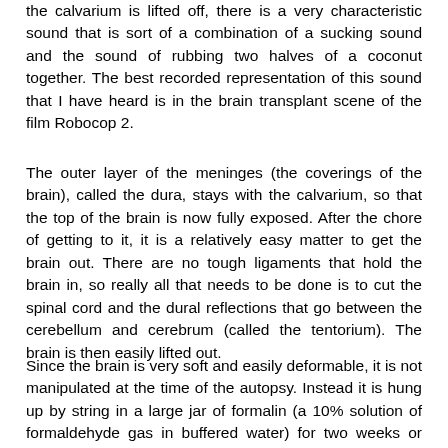the calvarium is lifted off, there is a very characteristic sound that is sort of a combination of a sucking sound and the sound of rubbing two halves of a coconut together. The best recorded representation of this sound that I have heard is in the brain transplant scene of the film Robocop 2.
The outer layer of the meninges (the coverings of the brain), called the dura, stays with the calvarium, so that the top of the brain is now fully exposed. After the chore of getting to it, it is a relatively easy matter to get the brain out. There are no tough ligaments that hold the brain in, so really all that needs to be done is to cut the spinal cord and the dural reflections that go between the cerebellum and cerebrum (called the tentorium). The brain is then easily lifted out.
Since the brain is very soft and easily deformable, it is not manipulated at the time of the autopsy. Instead it is hung up by string in a large jar of formalin (a 10% solution of formaldehyde gas in buffered water) for two weeks or longer. The action of formaldehyde is to "fix" the tissue, not only preserving it from decay, but also causing it to become much firmer and easier to handle without deforming it. The reason that it is suspended by